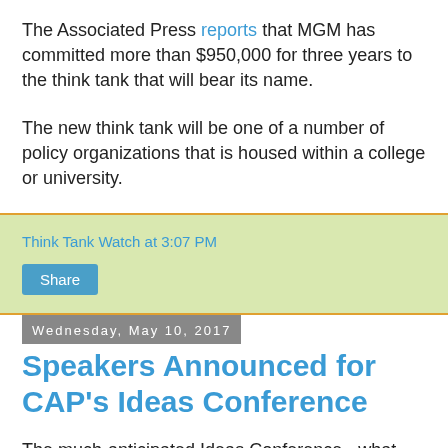The Associated Press reports that MGM has committed more than $950,000 for three years to the think tank that will bear its name.
The new think tank will be one of a number of policy organizations that is housed within a college or university.
Think Tank Watch at 3:07 PM
Share
Wednesday, May 10, 2017
Speakers Announced for CAP's Ideas Conference
The much-anticipated Ideas Conference - what Politico is calling the Center for American Progress's (CAP) response to the Conservative Political Action Conference (CPAC) - will